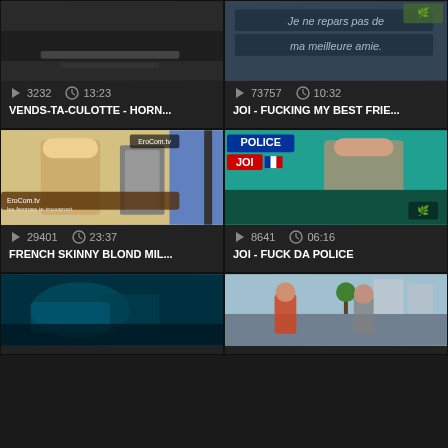[Figure (screenshot): Video thumbnail top-left: dark/dim scene]
3232  13:23
VENDS-TA-CULOTTE - HORN...
[Figure (screenshot): Video thumbnail top-right: text overlay on colored background]
73757  10:32
JOI - FUCKING MY BEST FRIE...
[Figure (screenshot): Video thumbnail mid-left: EroCom.tv blonde woman at door]
29401  23:37
FRENCH SKINNY BLOND MIL...
[Figure (screenshot): Video thumbnail mid-right: POLICE JOI roleplay]
8641  06:16
JOI - FUCK DA POLICE
[Figure (screenshot): Video thumbnail bottom-left: dark nightclub scene]
[Figure (screenshot): Video thumbnail bottom-right: outdoor scene with man and woman]